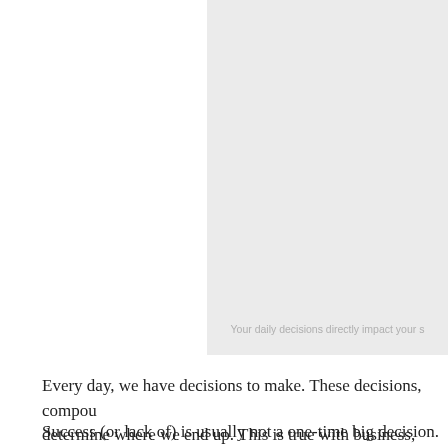[Figure (photo): A light gray image placeholder occupying the upper right portion of the page, with caption text 'Your daily decisions directly impact your s[uccess]' at the bottom.]
Your daily decisions directly impact your s...
Every day, we have decisions to make. These decisions, compou... determine where we end up. This is true with business, money, ...
Success (or lack of) is usually not a one-time big decision. It is ...